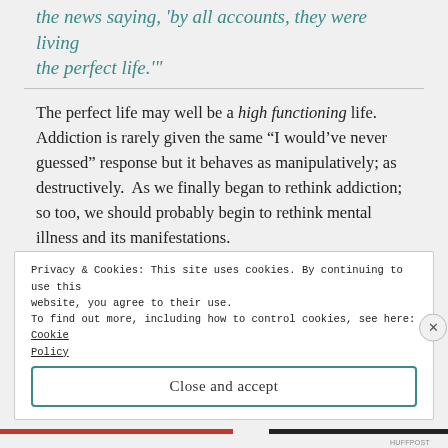the news saying, 'by all accounts, they were living the perfect life.'"
The perfect life may well be a high functioning life. Addiction is rarely given the same “I would’ve never guessed” response but it behaves as manipulatively; as destructively. As we finally began to rethink addiction; so too, we should probably begin to rethink mental illness and its manifestations.
I think, in a way, How the Body Remembers brings this conversation to its arc if not full circle. How do we
Privacy & Cookies: This site uses cookies. By continuing to use this website, you agree to their use.
To find out more, including how to control cookies, see here: Cookie Policy
Close and accept